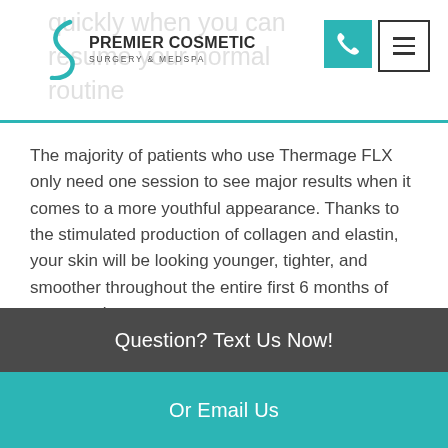quickly when you can resume your normal routine
[Figure (logo): Premier Cosmetic Surgery & MedSpa logo with teal stylized figure icon]
The majority of patients who use Thermage FLX only need one session to see major results when it comes to a more youthful appearance. Thanks to the stimulated production of collagen and elastin, your skin will be looking younger, tighter, and smoother throughout the entire first 6 months of your session.
Although the extra production of collagen
Question? Text Us Now!
Or Email Us